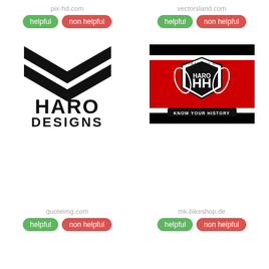pix-hd.com
helpful | non helpful
[Figure (logo): Haro Designs logo - black chevron shapes above bold HARO DESIGNS text]
vectorsland.com
helpful | non helpful
[Figure (logo): Haro BMX 30 Years of BMX emblem - shield with HH letters, laurel wreath, KNOW YOUR HISTORY banner on red/black background]
quoteimg.com
helpful | non helpful
mk-bikeshop.de
helpful | non helpful